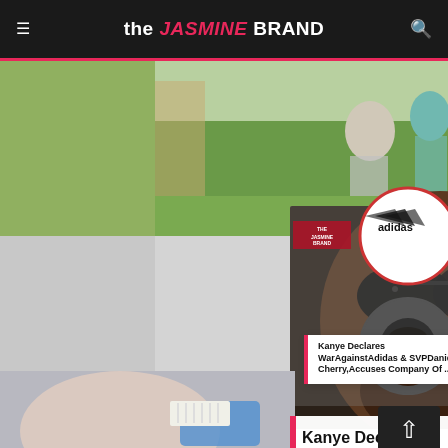the JASMINE BRAND
[Figure (screenshot): Website screenshot of The Jasmine Brand showing a news article about Kanye Declares War Against Adidas & SVP Daniel Cherry, Accuses Company Of... with various images including a man with sunglasses (Kanye West), Adidas logo, and a dental procedure photo in background]
Kanye Declares WarAgainstAdidas & SVPDaniel Cherry,Accuses Company Of ...